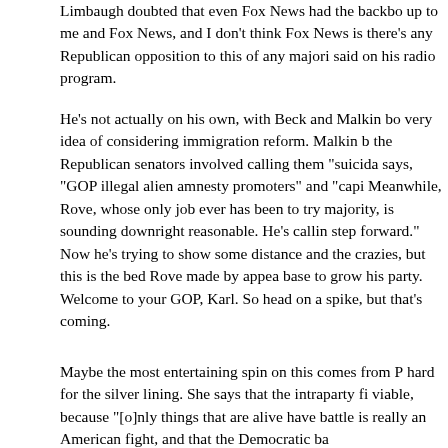Limbaugh doubted that even Fox News had the backbone to stand up to me and Fox News, and I don't think Fox News is … there's any Republican opposition to this of any majority … said on his radio program. He's not actually on his own, with Beck and Malkin both furious at the very idea of considering immigration reform. Malkin blasted the Republican senators involved calling them "suicidal" … says, "GOP illegal alien amnesty promoters" and "capi…" Meanwhile, Rove, whose only job ever has been to try … majority, is sounding downright reasonable. He's calling … step forward." Now he's trying to show some distance … and the crazies, but this is the bed Rove made by appealing to the base to grow his party. Welcome to your GOP, Karl. So… head on a spike, but that's coming.
Maybe the most entertaining spin on this comes from P… hard for the silver lining. She says that the intraparty fi… viable, because "[o]nly things that are alive have battle… is really an American fight, and that the Democratic ba…